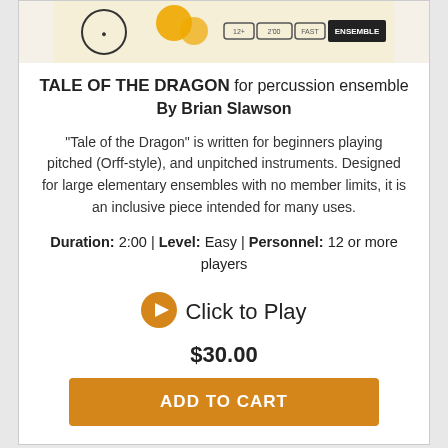[Figure (screenshot): Product image header showing ensemble badge with age 12+, duration 2'00, level FAST, and ENSEMBLE label on a warm background]
TALE OF THE DRAGON for percussion ensemble By Brian Slawson
"Tale of the Dragon" is written for beginners playing pitched (Orff-style), and unpitched instruments. Designed for large elementary ensembles with no member limits, it is an inclusive piece intended for many uses.
Duration: 2:00 | Level: Easy | Personnel: 12 or more players
Click to Play
$30.00
ADD TO CART
[Figure (screenshot): Second product card showing a percussion/ball item, partially visible at bottom of page with Contact us button overlay]